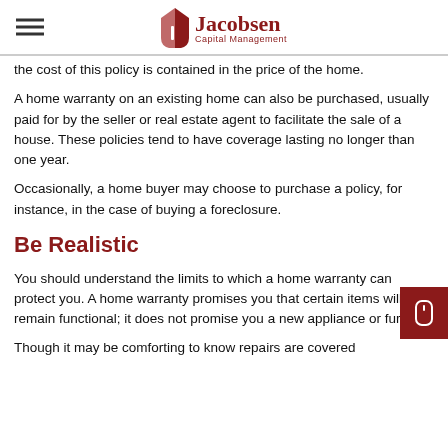Jacobsen Capital Management
the cost of this policy is contained in the price of the home.
A home warranty on an existing home can also be purchased, usually paid for by the seller or real estate agent to facilitate the sale of a house. These policies tend to have coverage lasting no longer than one year.
Occasionally, a home buyer may choose to purchase a policy, for instance, in the case of buying a foreclosure.
Be Realistic
You should understand the limits to which a home warranty can protect you. A home warranty promises you that certain items will remain functional; it does not promise you a new appliance or furnace.
Though it may be comforting to know repairs are covered